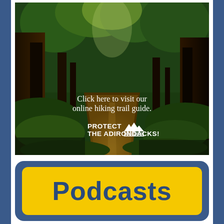[Figure (photo): A forest hiking trail path leading through tall green trees with sunlight filtering through the canopy. Overlaid white text reads 'Click here to visit our online hiking trail guide.' with a 'PROTECT THE ADIRONDACKS!' logo and mountain icon below.]
[Figure (infographic): A blue rounded rectangle badge containing a yellow rounded rectangle with bold dark blue text reading 'Podcasts'.]